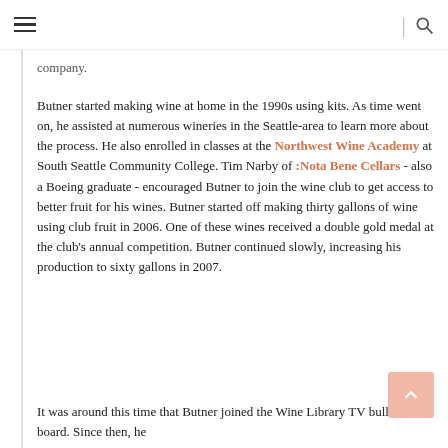☰ | 🔍
company.
Butner started making wine at home in the 1990s using kits. As time went on, he assisted at numerous wineries in the Seattle-area to learn more about the process. He also enrolled in classes at the Northwest Wine Academy at South Seattle Community College. Tim Narby of :Nota Bene Cellars - also a Boeing graduate - encouraged Butner to join the wine club to get access to better fruit for his wines. Butner started off making thirty gallons of wine using club fruit in 2006. One of these wines received a double gold medal at the club's annual competition. Butner continued slowly, increasing his production to sixty gallons in 2007.
It was around this time that Butner joined the Wine Library TV bulletin board. Since then, he